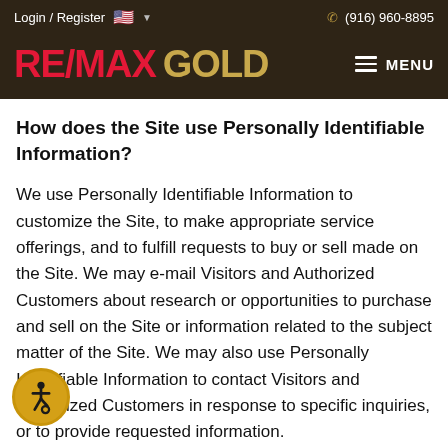Login / Register  🇺🇸 ▾    ☎ (916) 960-8895
[Figure (logo): RE/MAX GOLD logo with hamburger MENU button on dark brown background]
How does the Site use Personally Identifiable Information?
We use Personally Identifiable Information to customize the Site, to make appropriate service offerings, and to fulfill requests to buy or sell made on the Site. We may e-mail Visitors and Authorized Customers about research or opportunities to purchase and sell on the Site or information related to the subject matter of the Site. We may also use Personally Identifiable Information to contact Visitors and Authorized Customers in response to specific inquiries, or to provide requested information.